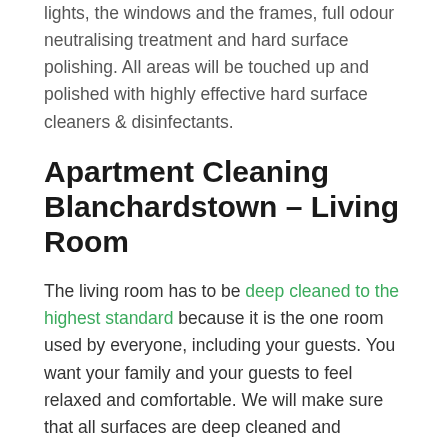lights, the windows and the frames, full odour neutralising treatment and hard surface polishing. All areas will be touched up and polished with highly effective hard surface cleaners & disinfectants.
Apartment Cleaning Blanchardstown – Living Room
The living room has to be deep cleaned to the highest standard because it is the one room used by everyone, including your guests. You want your family and your guests to feel relaxed and comfortable. We will make sure that all surfaces are deep cleaned and disinfected, all skirting boards and all doors will be cleaned and sanitised, all furniture will